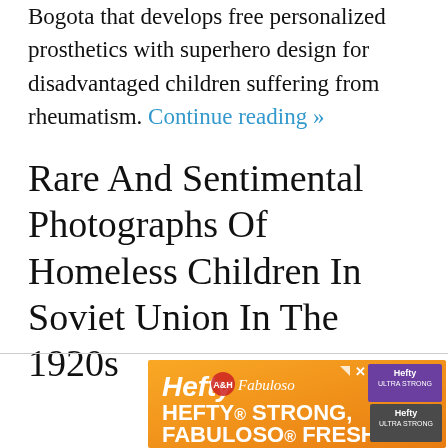Bogota that develops free personalized prosthetics with superhero design for disadvantaged children suffering from rheumatism. Continue reading »
Rare And Sentimental Photographs Of Homeless Children In Soviet Union In The 1920s
[Figure (other): Orange advertisement banner for Hefty and Fabuloso products. Shows Hefty logo, Fabuloso logo, Arm & Hammer circle logo, and text reading HEFTY STRONG, FABULOSO FRESH. Product images of Hefty bags visible on right side.]